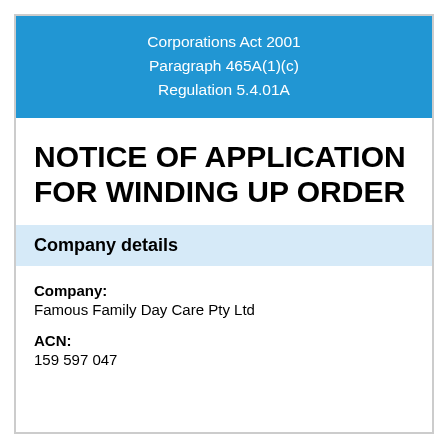Corporations Act 2001
Paragraph 465A(1)(c)
Regulation 5.4.01A
NOTICE OF APPLICATION FOR WINDING UP ORDER
Company details
Company:
Famous Family Day Care Pty Ltd
ACN:
159 597 047